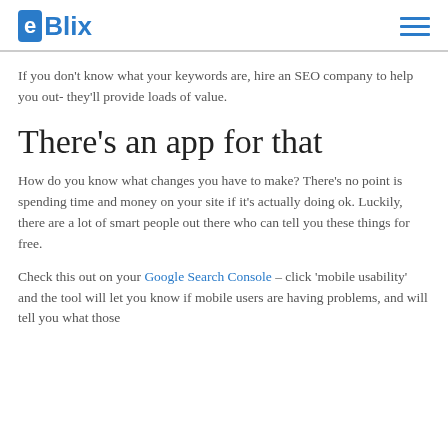eBlix
If you don't know what your keywords are, hire an SEO company to help you out- they'll provide loads of value.
There's an app for that
How do you know what changes you have to make? There's no point is spending time and money on your site if it's actually doing ok. Luckily, there are a lot of smart people out there who can tell you these things for free.
Check this out on your Google Search Console – click 'mobile usability' and the tool will let you know if mobile users are having problems, and will tell you what those